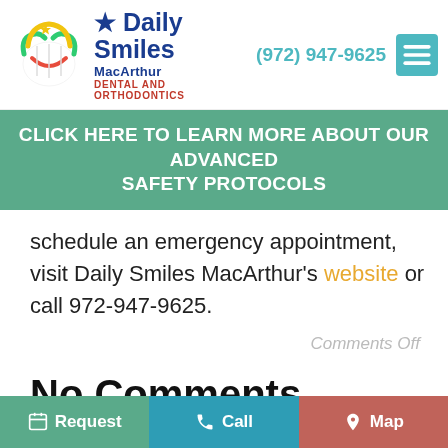Daily Smiles MacArthur Dental and Orthodontics | (972) 947-9625
CLICK HERE TO LEARN MORE ABOUT OUR ADVANCED SAFETY PROTOCOLS
schedule an emergency appointment, visit Daily Smiles MacArthur's website or call 972-947-9625.
Comments Off
No Comments
No comments yet.
Request | Call | Map